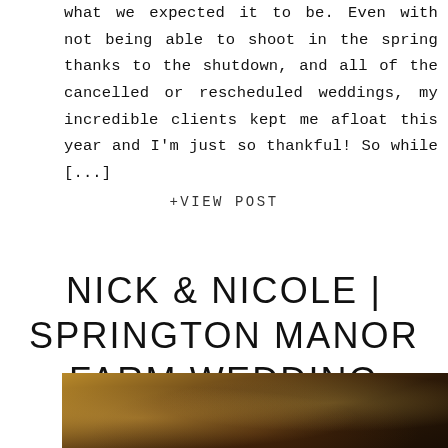what we expected it to be. Even with not being able to shoot in the spring thanks to the shutdown, and all of the cancelled or rescheduled weddings, my incredible clients kept me afloat this year and I'm just so thankful! So while [...]
+VIEW POST
NICK & NICOLE | SPRINGTON MANOR FARM WEDDING
[Figure (photo): Outdoor wedding photo, warm sepia/golden toned, showing trees and bokeh light effects]